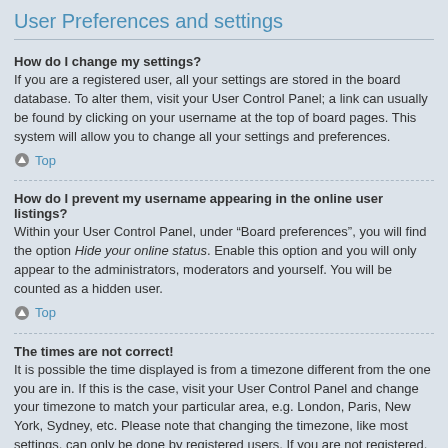User Preferences and settings
How do I change my settings?
If you are a registered user, all your settings are stored in the board database. To alter them, visit your User Control Panel; a link can usually be found by clicking on your username at the top of board pages. This system will allow you to change all your settings and preferences.
Top
How do I prevent my username appearing in the online user listings?
Within your User Control Panel, under “Board preferences”, you will find the option Hide your online status. Enable this option and you will only appear to the administrators, moderators and yourself. You will be counted as a hidden user.
Top
The times are not correct!
It is possible the time displayed is from a timezone different from the one you are in. If this is the case, visit your User Control Panel and change your timezone to match your particular area, e.g. London, Paris, New York, Sydney, etc. Please note that changing the timezone, like most settings, can only be done by registered users. If you are not registered, this is a good time to do so.
Top